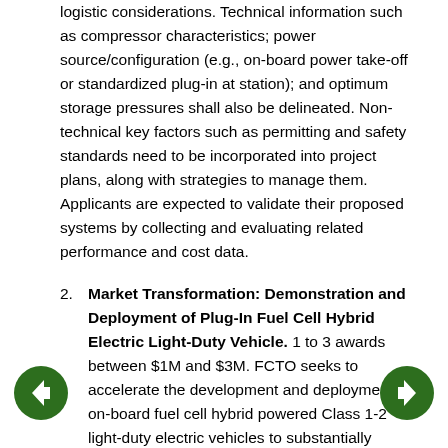logistic considerations. Technical information such as compressor characteristics; power source/configuration (e.g., on-board power take-off or standardized plug-in at station); and optimum storage pressures shall also be delineated. Non-technical key factors such as permitting and safety standards need to be incorporated into project plans, along with strategies to manage them. Applicants are expected to validate their proposed systems by collecting and evaluating related performance and cost data.
2. Market Transformation: Demonstration and Deployment of Plug-In Fuel Cell Hybrid Electric Light-Duty Vehicle. 1 to 3 awards between $1M and $3M. FCTO seeks to accelerate the development and deployment of on-board fuel cell hybrid powered Class 1-2 light-duty electric vehicles to substantially increase the zero emission driving range, thereby reducing petroleum